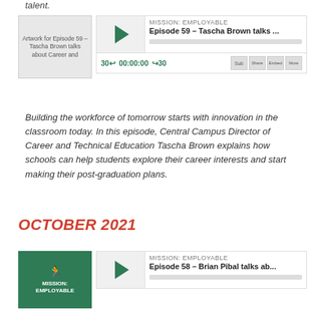talent.
[Figure (screenshot): Podcast player for Episode 59 – Tascha Brown talks about Career and Technical Education. Shows artwork, play button, episode title 'MISSION: EMPLOYABLE – Episode 59 – Tascha Brown talks...', progress bar, time controls '30← 00:00:00 →30', and share icons.]
Building the workforce of tomorrow starts with innovation in the classroom today. In this episode, Central Campus Director of Career and Technical Education Tascha Brown explains how schools can help students explore their career interests and start making their post-graduation plans.
OCTOBER 2021
[Figure (screenshot): Podcast player for Episode 58 – Brian Pibal talks ab... Shows Mission: Employable green artwork with runner icon, play button, and episode title.]